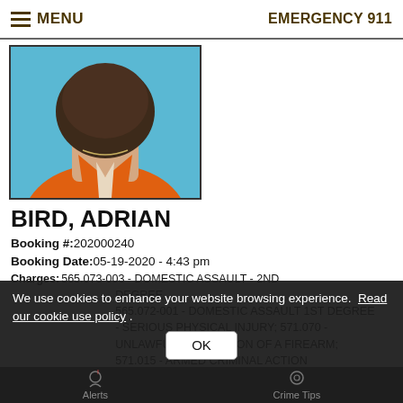MENU   EMERGENCY 911
[Figure (photo): Mugshot photo of individual in orange jail jumpsuit, photographed from behind/neck area, blue background]
BIRD, ADRIAN
Booking #:202000240
Booking Date:05-19-2020 - 4:43 pm
Charges:565.073-003 - DOMESTIC ASSAULT - 2ND DEGREE 565.072-001 - DOMESTIC ASSAULT 1ST DEGREE - SERIOUS PHYSICAL INJURY; 571.070 - UNLAWFUL POSSESSION OF A FIREARM; 571.015 - ARMED CRIMINAL ACTION 565.073-003 - DOMESTIC ASSAULT 1ST DEGREE
We use cookies to enhance your website browsing experience.  Read our cookie use policy .
OK